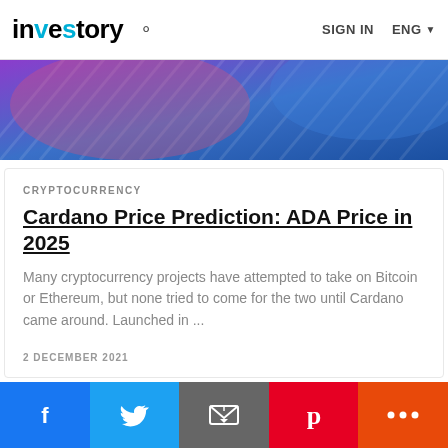investory  🔍   SIGN IN   ENG
[Figure (illustration): Abstract diagonal stripe banner in purple, pink, red and blue gradient tones]
CRYPTOCURRENCY
Cardano Price Prediction: ADA Price in 2025
Many cryptocurrency projects have attempted to take on Bitcoin or Ethereum, but none tried to come for the two until Cardano came around. Launched in ...
2 DECEMBER 2021
[Figure (illustration): Purple gradient banner with a gold Bitcoin coin and layered purple geometric blocks on the right side]
f  Twitter  Email  Pinterest  +